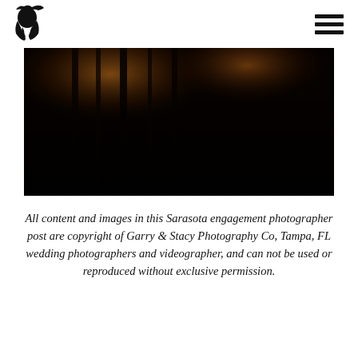[Figure (logo): Stylized figure/portrait logo mark in black ink]
[Figure (photo): Dark nighttime photograph showing vertical poles or columns with warm orange/amber light glow in upper portion against a very dark background]
All content and images in this Sarasota engagement photographer post are copyright of Garry & Stacy Photography Co, Tampa, FL wedding photographers and videographer, and can not be used or reproduced without exclusive permission.